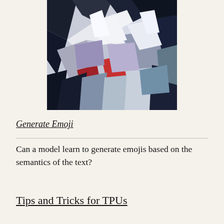[Figure (illustration): Abstract digital art image with dark blues, whites, and reds forming an abstract figurative composition, cubist-style painting]
Generate Emoji
Can a model learn to generate emojis based on the semantics of the text?
Tips and Tricks for TPUs